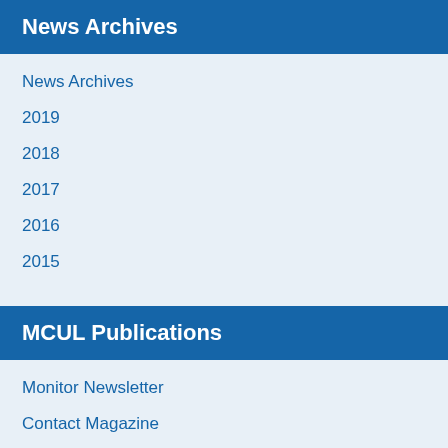News Archives
News Archives
2019
2018
2017
2016
2015
MCUL Publications
Monitor Newsletter
Contact Magazine
Priority Report
CUBE TV & Multimedia